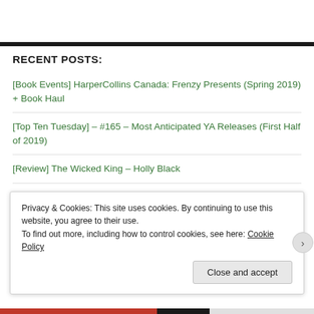RECENT POSTS:
[Book Events] HarperCollins Canada: Frenzy Presents (Spring 2019) + Book Haul
[Top Ten Tuesday] – #165 – Most Anticipated YA Releases (First Half of 2019)
[Review] The Wicked King – Holly Black
The Thinker Awards – Best in 2018 Fiction
[Book Events] HarperCollins Canada: Frenzy Presents (Fall 2018) + Book…
Privacy & Cookies: This site uses cookies. By continuing to use this website, you agree to their use. To find out more, including how to control cookies, see here: Cookie Policy
Close and accept